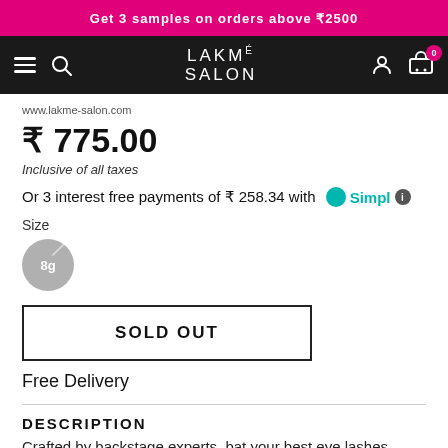Get 3 samples on orders above ₹2500
[Figure (logo): Lakmé Salon navigation bar with hamburger menu, search icon, logo, account icon, and cart icon with badge showing 0]
₹ 775.00
Inclusive of all taxes
Or 3 interest free payments of ₹ 258.34 with Simpl ℹ
Size
8g
SOLD OUT
Free Delivery
DESCRIPTION
Crafted by backstage experts, bat your best eye lashes